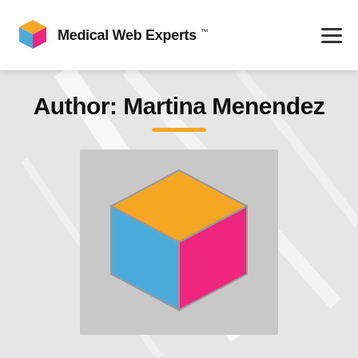Medical Web Experts ™
Author: Martina Menendez
[Figure (logo): 3D cube logo with orange top face, blue left face, and pink right face on a gray background — Medical Web Experts avatar image for author Martina Menendez]